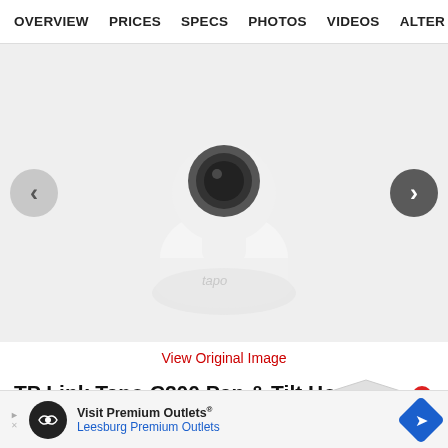OVERVIEW  PRICES  SPECS  PHOTOS  VIDEOS  ALTERN
[Figure (photo): TP-Link Tapo C200 white pan and tilt security WiFi camera on white background with navigation arrows on left and right]
View Original Image
TP Link Tapo C200 Pan & Tilt Home Security Wifi Camera Price in India updated on 22nd Dec 2021
[Figure (photo): Promotional discount box with percentage symbol and red accent, showing product bundle advertisement]
[Figure (screenshot): Advertisement banner for Visit Premium Outlets - Leesburg Premium Outlets with logo and map pin icon]